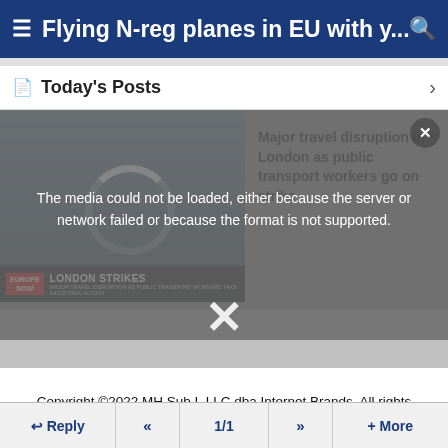Flying N-reg planes in EU with y...
Today's Posts
[Figure (screenshot): Media player showing a news video about London Strikes - Major travel disruption in London as public transport workers go on strike. Overlaid with a media error message: 'The media could not be loaded, either because the server or network failed or because the format is not supported.' A large X close button is also visible.]
Copyright ©2022 MH Sub I, LLC dba Internet Brands. All rights reserved. Use of this site indicates your consent to the Terms of Use.
Reply  «  1/1  »  + More